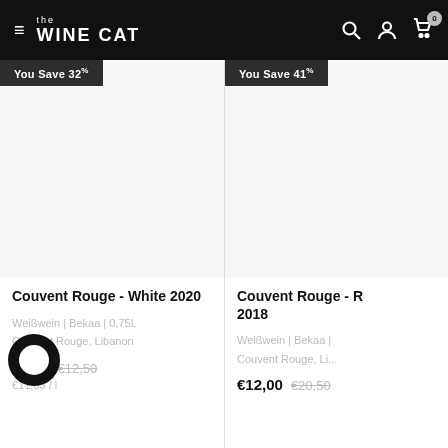the WINE CAT
You Save 32%
You Save 41%
Couvent Rouge - White 2020
Weißwein | Bekaa | 0,75L
Couvent Rouge, Libanon
€8,50   €12,50
€11,33 / l
Couvent Rouge - R... 2018
Weißwein | Bekaa |
Couvent Rouge, Li...
€12,00   €20,50